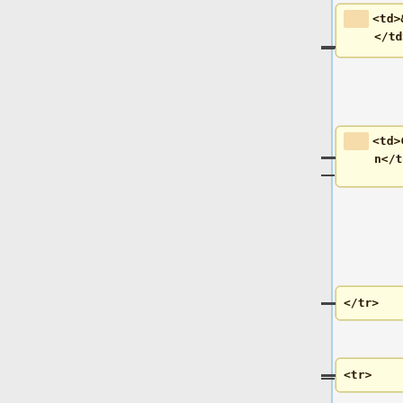[Figure (flowchart): A vertical tree/flowchart showing XML code nodes connected by dashed lines and a blue vertical line. Nodes shown (top to bottom): '<td>&nbsp;</td>', '<td>Continuation</td>', '</tr>', '<tr>', '<td>CopyrightContactEmail</td>', '<td>&lt;string&gt;<br/>', 'Contains the email address of the copyright holder.']
<td>&nbsp;
</td>
<td>Continuation</td>
</tr>
<tr>
<td>CopyrightContactEmail</td>
<td>&lt;string&gt;<br/>
Contains the email address of the copyright holder.